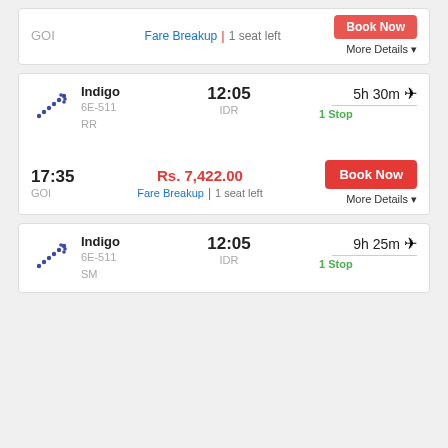GOI
Fare Breakup | 1 seat left
More Details
[Figure (logo): Indigo airline dotted arrow logo]
Indigo 6E-511 RR
12:05 IDR
5h 30m 1 Stop
17:35 GOI
Rs. 7,422.00
Fare Breakup | 1 seat left
Book Now
More Details
[Figure (logo): Indigo airline dotted arrow logo]
Indigo 6E-511 SM
12:05 IDR
9h 25m 1 Stop